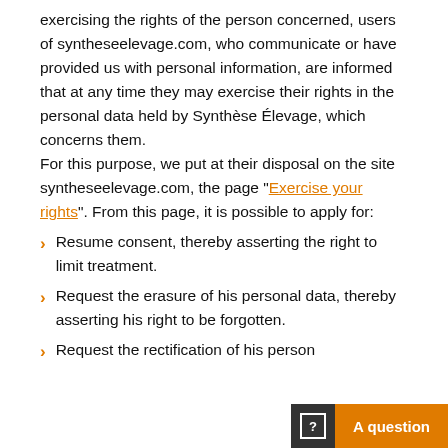exercising the rights of the person concerned, users of syntheseelevage.com, who communicate or have provided us with personal information, are informed that at any time they may exercise their rights in the personal data held by Synthèse Élevage, which concerns them. For this purpose, we put at their disposal on the site syntheseelevage.com, the page "Exercise your rights". From this page, it is possible to apply for:
Resume consent, thereby asserting the right to limit treatment.
Request the erasure of his personal data, thereby asserting his right to be forgotten.
Request the rectification of his person...